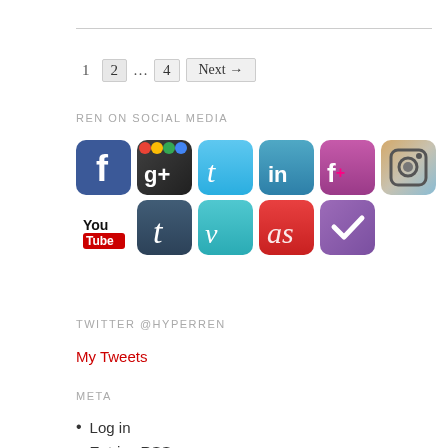1  2  ...  4  Next →
REN ON SOCIAL MEDIA
[Figure (illustration): Social media icons: Facebook, Google+, Twitter, LinkedIn, Flickr, Instagram (top row); YouTube, Tumblr, Vimeo, Last.fm, Wunderlist (bottom row)]
TWITTER @HYPERREN
My Tweets
META
Log in
Entries RSS